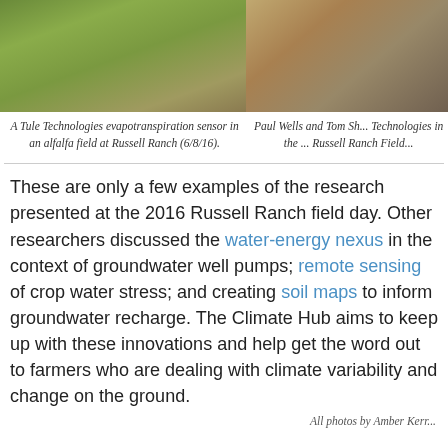[Figure (photo): Photo of a Tule Technologies evapotranspiration sensor in an alfalfa field at Russell Ranch, cropped at top]
[Figure (photo): Photo of Paul Wells and Tom Sh... of Tule Technologies in the Russell Ranch Field, cropped at top and right]
A Tule Technologies evapotranspiration sensor in an alfalfa field at Russell Ranch (6/8/16).
Paul Wells and Tom Sh... Technologies in the ... Russell Ranch Field...
These are only a few examples of the research presented at the 2016 Russell Ranch field day. Other researchers discussed the water-energy nexus in the context of groundwater well pumps; remote sensing of crop water stress; and creating soil maps to inform groundwater recharge. The Climate Hub aims to keep up with these innovations and help get the word out to farmers who are dealing with climate variability and change on the ground.
All photos by Amber Kerr...